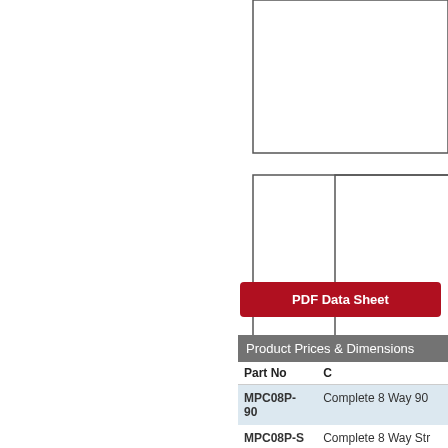[Figure (schematic): Engineering diagram showing outline boxes: one wide rectangular box at top right, and two smaller rectangular boxes side by side below it. Left portion of page is blank white space.]
PDF Data Sheet
Product Prices & Dimensions
| Part No | C |
| --- | --- |
| MPC08P-90 | Complete 8 Way 90 |
| MPC08P-S | Complete 8 Way Str |
| 9800680 | 8 Way 90 deg |